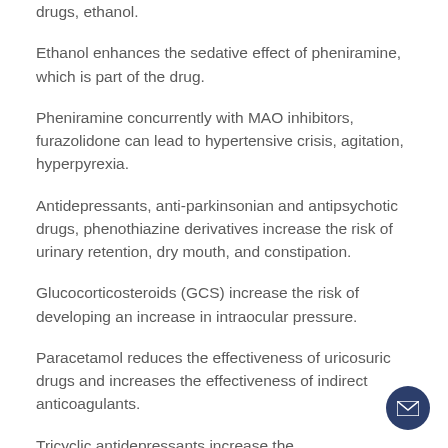drugs, ethanol.
Ethanol enhances the sedative effect of pheniramine, which is part of the drug.
Pheniramine concurrently with MAO inhibitors, furazolidone can lead to hypertensive crisis, agitation, hyperpyrexia.
Antidepressants, anti-parkinsonian and antipsychotic drugs, phenothiazine derivatives increase the risk of urinary retention, dry mouth, and constipation.
Glucocorticosteroids (GCS) increase the risk of developing an increase in intraocular pressure.
Paracetamol reduces the effectiveness of uricosuric drugs and increases the effectiveness of indirect anticoagulants.
Tricyclic antidepressants increase the sympathomimetic effect, the simultaneous appointment of halothane increases the risk of